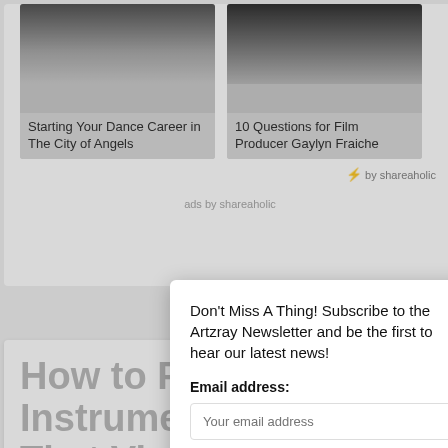Starting Your Dance Career in The City of Angels
10 Questions for Film Producer Gaylyn Fraiche
by shareaholic
ads by shareaholic
How to Pr Instrume That Viola
JACQUELINE AB
HOW TO, MUS
How can you pra instrument? Do y
Don't Miss A Thing! Subscribe to the Artzray Newsletter and be the first to hear our latest news!
Email address:
Your email address
Sign up